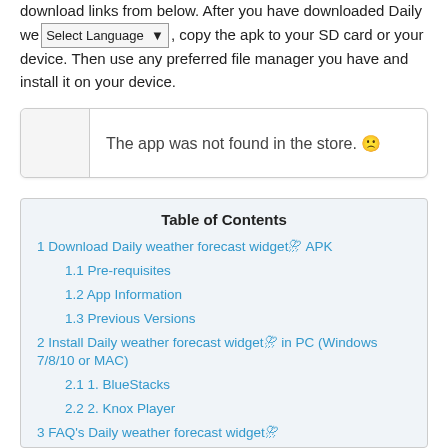download links from below. After you have downloaded Daily we [Select Language dropdown], copy the apk to your SD card or your device. Then use any preferred file manager you have and install it on your device.
| The app was not found in the store. 🙁 |
Table of Contents
1 Download Daily weather forecast widget⛈ APK
1.1 Pre-requisites
1.2 App Information
1.3 Previous Versions
2 Install Daily weather forecast widget⛈ in PC (Windows 7/8/10 or MAC)
2.1 1. BlueStacks
2.2 2. Knox Player
3 FAQ's Daily weather forecast widget⛈